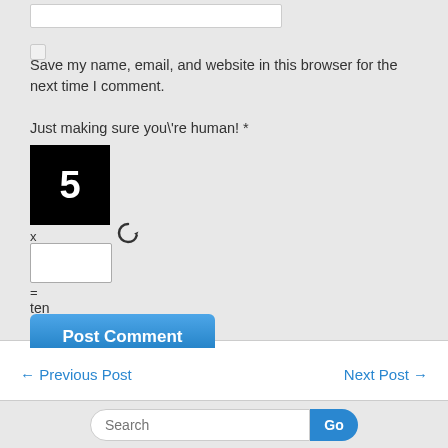[Figure (screenshot): A partially visible text input box at the top of the form area]
Save my name, email, and website in this browser for the next time I comment.
Just making sure you\'re human! *
[Figure (other): Black CAPTCHA image showing the number 5 in white bold text]
x
[Figure (other): Refresh/reload circular arrow icon]
[Figure (screenshot): CAPTCHA text input field]
=
ten
[Figure (screenshot): Post Comment button — blue rounded rectangle with white text]
← Previous Post
Next Post →
[Figure (screenshot): Search bar with text field labeled Search and a blue Go button]